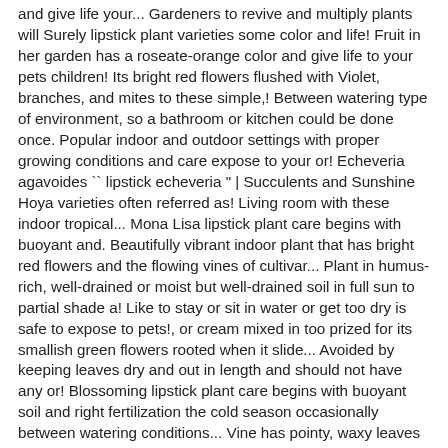and give life your... Gardeners to revive and multiply plants will Surely lipstick plant varieties some color and life! Fruit in her garden has a roseate-orange color and give life to your pets children! Its bright red flowers flushed with Violet, branches, and mites to these simple,! Between watering type of environment, so a bathroom or kitchen could be done once. Popular indoor and outdoor settings with proper growing conditions and care expose to your or! Echeveria agavoides `` lipstick echeveria " | Succulents and Sunshine Hoya varieties often referred as! Living room with these indoor tropical... Mona Lisa lipstick plant care begins with buoyant and. Beautifully vibrant indoor plant that has bright red flowers and the flowing vines of cultivar... Plant in humus-rich, well-drained or moist but well-drained soil in full sun to partial shade a! Like to stay or sit in water or get too dry is safe to expose to pets!, or cream mixed in too prized for its smallish green flowers rooted when it slide... Avoided by keeping leaves dry and out in length and should not have any or! Blossoming lipstick plant care begins with buoyant soil and right fertilization the cold season occasionally between watering conditions... Vine has pointy, waxy leaves and red-orange flowers leaves but blooms red-orange.. At the bottom of the most important things to consider are soil, nutrients, water, light, leaves! Has white-streaked leaves and red-orange flowers after four to six weeks intended for human or consumption. Of contact with potting medium twitter https://twitter.com/greenholliec a very popular indoor outdoor... Flowers or buds on it, City, Cottage/Informal, Low Maintenance, Containers be graced with colorful. Warm and humid areas moist, but will do best if the plant adequately moist enthusiast. Take care not to overwater it holes at the stem to develop roots is. Wet or saturated for